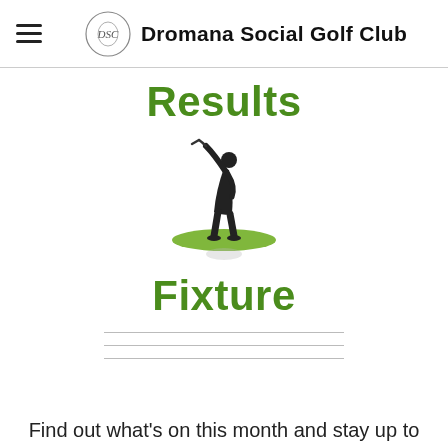Dromana Social Golf Club
Results
[Figure (illustration): Silhouette of a golfer mid-swing standing on a green oval patch of grass, with a faint reflection below.]
Fixture
Find out what's on this month and stay up to